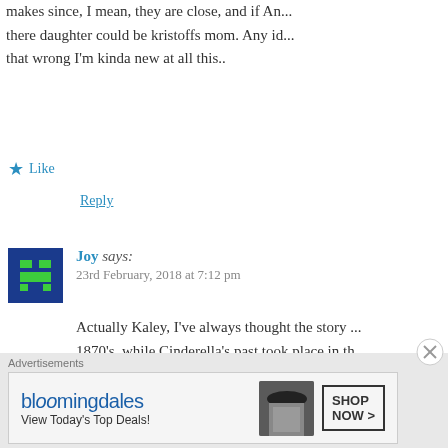makes since, I mean, they are close, and if An... there daughter could be kristoffs mom. Any id... that wrong I'm kinda new at all this..
★ Like
Reply
Joy says:
23rd February, 2018 at 7:12 pm
Actually Kaley, I've always thought the story ... 1870's, while Cinderella's past took place in th... that Frozen takes place in 1839, while Elsa wa... Anna was born on the summer solstice. Now, ... was in the spring or summer, on May 13th, acc... Rapunzel and Elsa be twins if Elsa was born a...
Advertisements
[Figure (other): Bloomingdale's advertisement banner with text 'bloomingdales', 'View Today's Top Deals!' and 'SHOP NOW >' button, featuring a woman in a hat.]